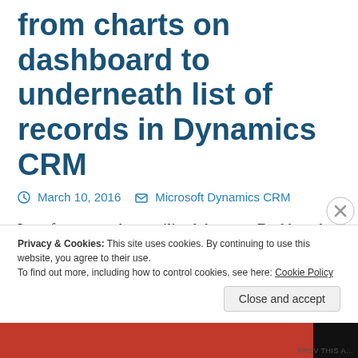from charts on dashboard to underneath list of records in Dynamics CRM
March 10, 2016   Microsoft Dynamics CRM
Lot of you must have utilized the great Dashboard feature of CRM and charts available on it. There is a great feature available on
Privacy & Cookies: This site uses cookies. By continuing to use this website, you agree to their use.
To find out more, including how to control cookies, see here: Cookie Policy
Close and accept